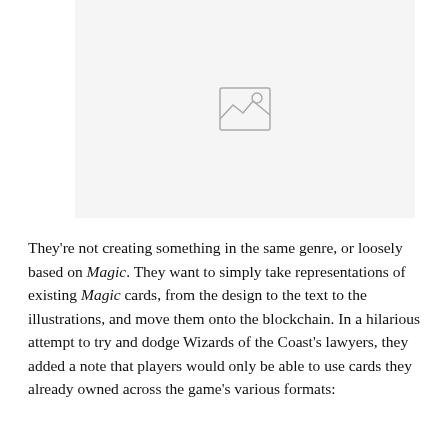[Figure (illustration): Placeholder image icon: a rectangle outline with a small circle (sun) in the upper right and a mountain/landscape line, indicating a missing or placeholder image.]
They're not creating something in the same genre, or loosely based on Magic. They want to simply take representations of existing Magic cards, from the design to the text to the illustrations, and move them onto the blockchain. In a hilarious attempt to try and dodge Wizards of the Coast's lawyers, they added a note that players would only be able to use cards they already owned across the game's various formats: